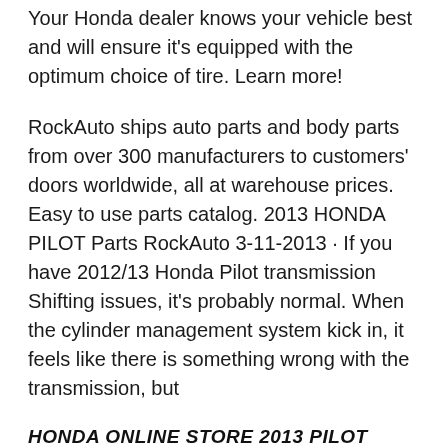Your Honda dealer knows your vehicle best and will ensure it's equipped with the optimum choice of tire. Learn more!
RockAuto ships auto parts and body parts from over 300 manufacturers to customers' doors worldwide, all at warehouse prices. Easy to use parts catalog. 2013 HONDA PILOT Parts RockAuto 3-11-2013 · If you have 2012/13 Honda Pilot transmission Shifting issues, it's probably normal. When the cylinder management system kick in, it feels like there is something wrong with the transmission, but
HONDA ONLINE STORE 2013 PILOT FRONT SEAT (R.) PARTS